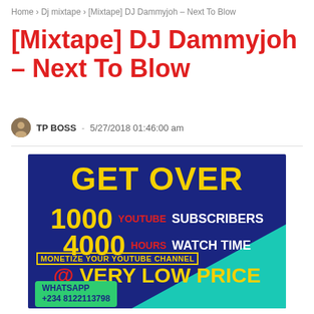Home > Dj mixtape > [Mixtape] DJ Dammyjoh – Next To Blow
[Mixtape] DJ Dammyjoh – Next To Blow
TP BOSS - 5/27/2018 01:46:00 am
[Figure (infographic): Blue background ad image with text: GET OVER 1000 YOUTUBE SUBSCRIBERS 4000 HOURS WATCH TIME. Bottom section with teal triangle: MONETIZE YOUR YOUTUBE CHANNEL @ VERY LOW PRICE. WhatsApp +234 8122113798]